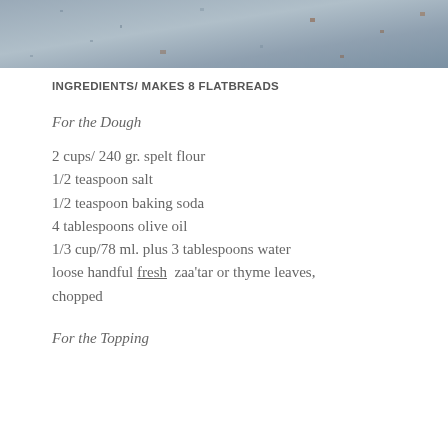[Figure (photo): Top portion of a photo showing a textured stone or concrete surface with a grey-blue color and some small spots/debris.]
INGREDIENTS/ MAKES 8 FLATBREADS
For the Dough
2 cups/ 240 gr. spelt flour
1/2 teaspoon salt
1/2 teaspoon baking soda
4 tablespoons olive oil
1/3 cup/78 ml. plus 3 tablespoons water
loose handful fresh zaa'tar or thyme leaves, chopped
For the Topping